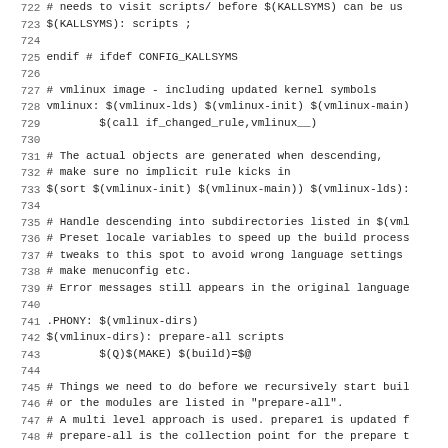Source code / Makefile lines 722-754, showing kernel build rules including KALLSYMS, vmlinux, vmlinux-dirs, and prepare targets.